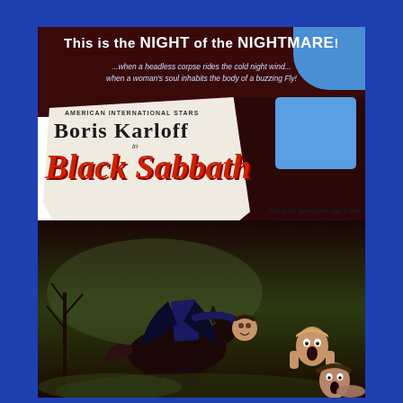[Figure (illustration): Movie poster for 'Black Sabbath' (1963) starring Boris Karloff. The poster has a dark maroon/brown background at the top with white bold text reading 'This is the NIGHT of the NIGHTMARE!' followed by italic subtext about a headless corpse and a woman's soul. The center features a torn white paper effect with 'AMERICAN INTERNATIONAL STARS BORIS KARLOFF in Black Sabbath' - the film title in large red italic serif font. To the right is text reading '...The most gruesome day in the calendar of the Undead! in PATHECOLOR'. The lower portion shows a dramatic illustration of a headless horseman on a dark horse, holding a severed head, with screaming women in the bottom right corner. The overall color scheme is dark maroon, white, red, and blue.]